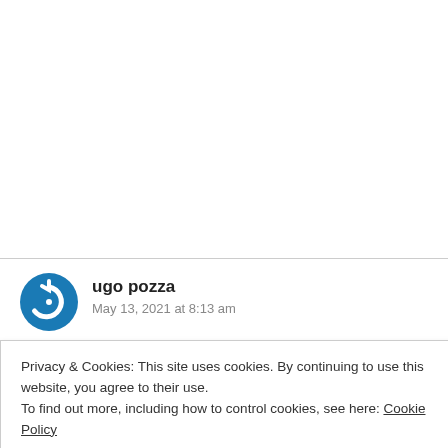[Figure (screenshot): White blank upper area of a webpage]
ugo pozza
May 13, 2021 at 8:13 am
Privacy & Cookies: This site uses cookies. By continuing to use this website, you agree to their use.
To find out more, including how to control cookies, see here: Cookie Policy
Close and accept
Fast credit card payoff